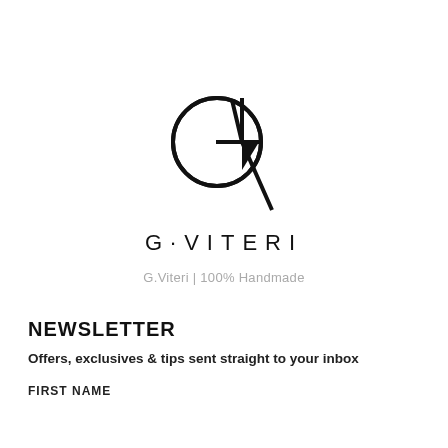[Figure (logo): G.Viteri brand logo: a stylized monogram combining the letters G and V, with a circle forming the G and a V shape intersecting it, drawn in black line art. Below the monogram, the text 'G·VITERI' in spaced sans-serif capitals.]
G.Viteri | 100% Handmade
NEWSLETTER
Offers, exclusives & tips sent straight to your inbox
FIRST NAME